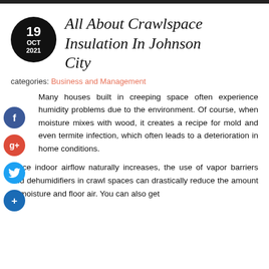All About Crawlspace Insulation In Johnson City
categories: Business and Management
Many houses built in creeping space often experience humidity problems due to the environment. Of course, when moisture mixes with wood, it creates a recipe for mold and even termite infection, which often leads to a deterioration in home conditions.
Since indoor airflow naturally increases, the use of vapor barriers and dehumidifiers in crawl spaces can drastically reduce the amount of moisture and floor air. You can also get